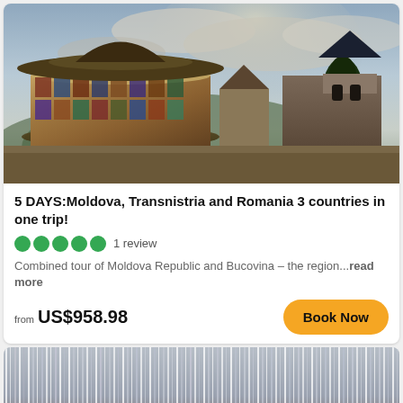[Figure (photo): Exterior of ornate painted Romanian Orthodox monastery with conical roof and murals, set against cloudy sky with stone fortress walls]
5 DAYS:Moldova, Transnistria and Romania 3 countries in one trip!
1 review
Combined tour of Moldova Republic and Bucovina – the region...read more
from US$958.98
Book Now
[Figure (photo): Partially obscured photo behind vertical curtain/beaded strands with red flowers at bottom]